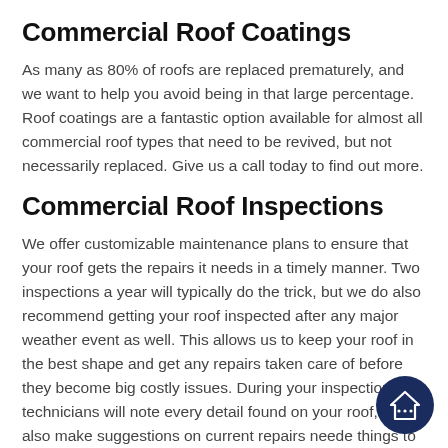Commercial Roof Coatings
As many as 80% of roofs are replaced prematurely, and we want to help you avoid being in that large percentage. Roof coatings are a fantastic option available for almost all commercial roof types that need to be revived, but not necessarily replaced. Give us a call today to find out more.
Commercial Roof Inspections
We offer customizable maintenance plans to ensure that your roof gets the repairs it needs in a timely manner. Two inspections a year will typically do the trick, but we do also recommend getting your roof inspected after any major weather event as well. This allows us to keep your roof in the best shape and get any repairs taken care of before they become big costly issues. During your inspection, our technicians will note every detail found on your roof, will also make suggestions on current repairs needed, things to look for in the future. This also helps in the event